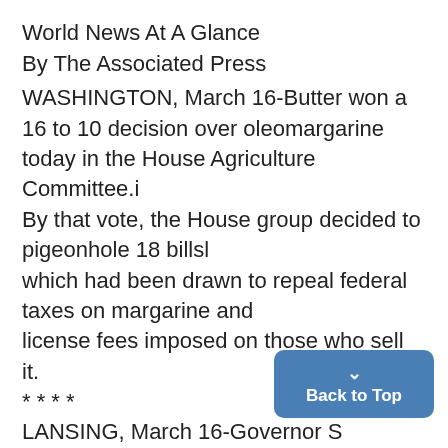World News At A Glance
By The Associated Press
WASHINGTON, March 16-Butter won a 16 to 10 decision over oleomargarine today in the House Agriculture Committee.i By that vote, the House group decided to pigeonhole 18 billsl which had been drawn to repeal federal taxes on margarine and license fees imposed on those who sell it.
* * * *
LANSING, March 16-Governor S proposals for gov-